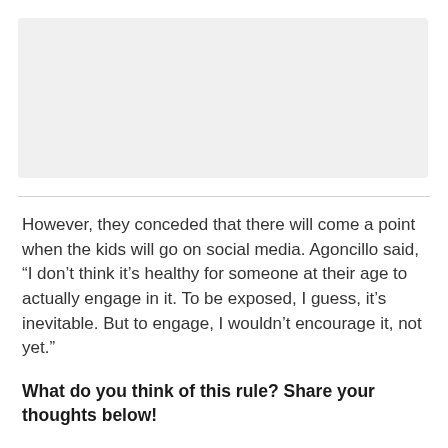[Figure (other): Gray placeholder image area at top of page]
However, they conceded that there will come a point when the kids will go on social media. Agoncillo said, “I don’t think it’s healthy for someone at their age to actually engage in it. To be exposed, I guess, it’s inevitable. But to engage, I wouldn’t encourage it, not yet.”
What do you think of this rule? Share your thoughts below!
Follow @When in Manila Koji for more stories like this!